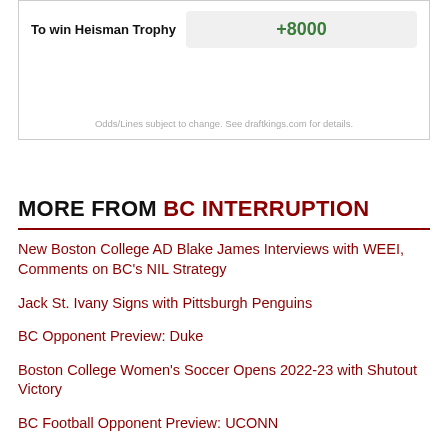| To win Heisman Trophy |  |
| --- | --- |
| To win Heisman Trophy | +8000 |
Odds/Lines subject to change. See draftkings.com for details.
MORE FROM BC INTERRUPTION
New Boston College AD Blake James Interviews with WEEI, Comments on BC's NIL Strategy
Jack St. Ivany Signs with Pittsburgh Penguins
BC Opponent Preview: Duke
Boston College Women's Soccer Opens 2022-23 with Shutout Victory
BC Football Opponent Preview: UCONN